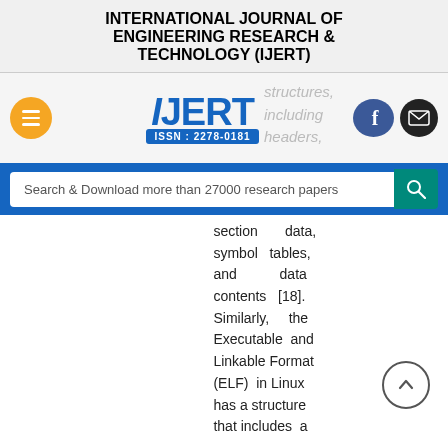INTERNATIONAL JOURNAL OF ENGINEERING RESEARCH & TECHNOLOGY (IJERT)
[Figure (logo): IJERT logo with ISSN: 2278-0181, hamburger menu button, Facebook and email social buttons, and watermark text showing 'structures, including headers,']
[Figure (screenshot): Search bar with text 'Search & Download more than 27000 research papers' and a teal search icon button]
section data, symbol tables, and data contents [18]. Similarly, the Executable and Linkable Format (ELF) in Linux has a structure that includes a